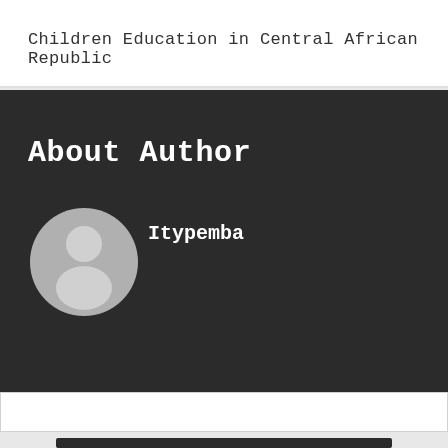Children Education in Central African Republic
About Author
[Figure (illustration): Default user avatar: a circular grey icon with a generic person silhouette (head and shoulders), on a dark background.]
Itypemba